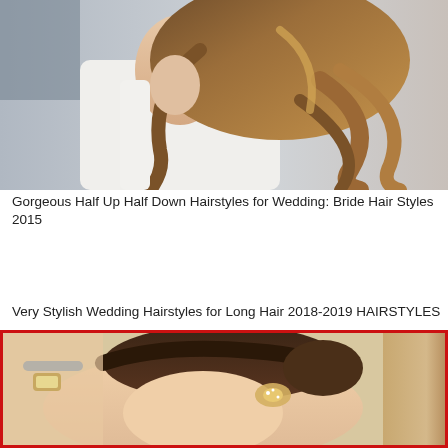[Figure (photo): Back view of a woman in a white sleeveless dress with a half up half down curly brown/golden hairstyle, photographed outdoors.]
Gorgeous Half Up Half Down Hairstyles for Wedding: Bride Hair Styles 2015
Very Stylish Wedding Hairstyles for Long Hair 2018-2019 HAIRSTYLES
[Figure (photo): Close-up of a bride with dark brown hair pinned up in an elegant updo, wearing a jeweled hair accessory/headpiece, with red border frame.]